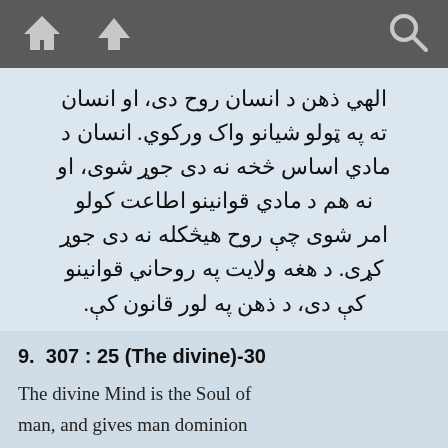[toolbar with home, up, and search icons]
الهي ذهن د انسان روح دی، او انسان ته په ټولو شيانو واک وركوي. انسان د مادي اساس څخه نه دی جوړ شوی، او نه هم د مادي قوانينو اطاعت كولو امر شوی چې روح هيڅكله نه دی جوړ كړی. د هغه ولايت په روحاني قوانينو كې دی، د ذهن په لور قانون كې.
9. 307 : 25 (The divine)-30
The divine Mind is the Soul of man, and gives man dominion over all things. Man was not